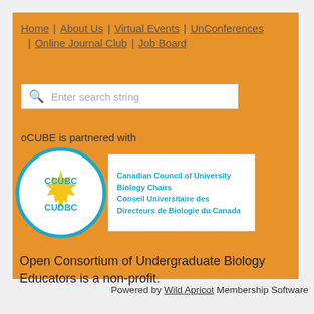Home | About Us | Virtual Events | UnConferences | Online Journal Club | Job Board
Enter search string
oCUBE is partnered with
[Figure (logo): CCUBC CUDBC logo - circular badge with maple leaf and text, paired with Canadian Council of University Biology Chairs / Conseil Universitaire des Directeurs de Biologie du Canada]
Open Consortium of Undergraduate Biology Educators is a non-profit.
Powered by Wild Apricot Membership Software